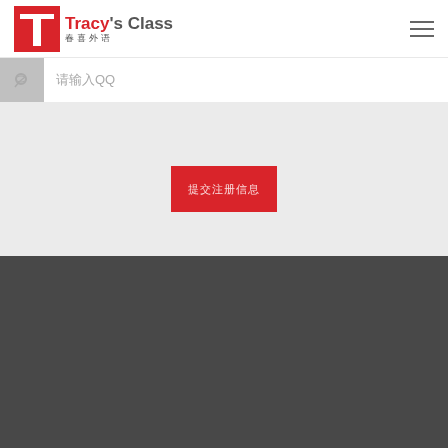[Figure (logo): Tracy's Class 春喜外语 logo with red T icon and brand name]
请输入QQ
提交注册信息
Dark footer bar